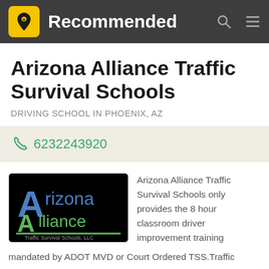Recommended
Arizona Alliance Traffic Survival Schools
DRIVING SCHOOL IN PHOENIX, AZ
6232243920
[Figure (logo): Arizona Alliance Traffic Survival Schools, LLC logo — black background with blue and green stylized 'A' letters and text]
Arizona Alliance Traffic Survival Schools only provides the 8 hour classroom driver improvement training mandated by ADOT MVD or Court Ordered TSS.Traffic